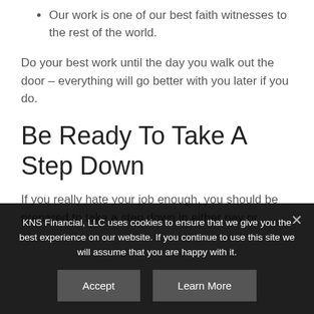Our work is one of our best faith witnesses to the rest of the world.
Do your best work until the day you walk out the door – everything will go better with you later if you do.
Be Ready To Take A Step Down
If you really hate your job enough, you should be prepared to take a step down in either pay or
KNS Financial, LLC uses cookies to ensure that we give you the best experience on our website. If you continue to use this site we will assume that you are happy with it.